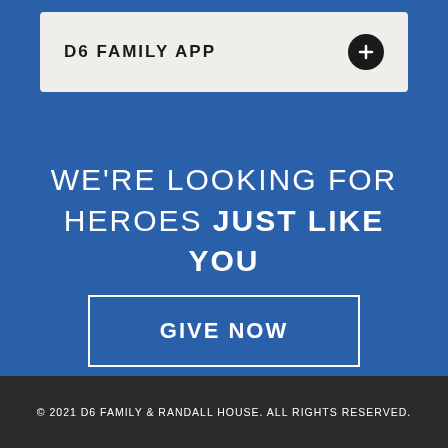D6 FAMILY APP
WE'RE LOOKING FOR HEROES JUST LIKE YOU
GIVE NOW
© 2021 D6 FAMILY & RANDALL HOUSE. ALL RIGHTS RESERVED.